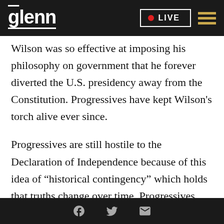glenn  LIVE
Wilson was so effective at imposing his philosophy on government that he forever diverted the U.S. presidency away from the Constitution. Progressives have kept Wilson's torch alive ever since.
Progressives are still hostile to the Declaration of Independence because of this idea of “historical contingency” which holds that truths change over time. Progressives think the “self-evident” truths of the Declaration are outdated and may no longer apply. And that means the Constitution based on those truths may no longer apply either. Wilson and
[social share icons: Facebook, Twitter, Email]